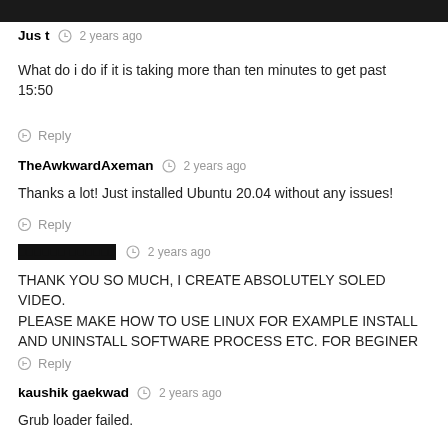Just  2 years ago
What do i do if it is taking more than ten minutes to get past 15:50
Reply
TheAwkwardAxeman  2 years ago
Thanks a lot! Just installed Ubuntu 20.04 without any issues!
Reply
[redacted username]  2 years ago
THANK YOU SO MUCH, I CREATE ABSOLUTELY SOLED VIDEO. PLEASE MAKE HOW TO USE LINUX FOR EXAMPLE INSTALL AND UNINSTALL SOFTWARE PROCESS ETC. FOR BEGINER
Reply
kaushik gaekwad  2 years ago
Grub loader failed.